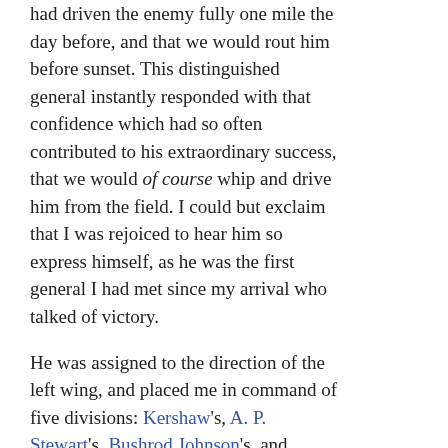had driven the enemy fully one mile the day before, and that we would rout him before sunset. This distinguished general instantly responded with that confidence which had so often contributed to his extraordinary success, that we would of course whip and drive him from the field. I could but exclaim that I was rejoiced to hear him so express himself, as he was the first general I had met since my arrival who talked of victory.

He was assigned to the direction of the left wing, and placed me in command of five divisions: Kershaw's, A. P. Stewart's, Bushrod Johnson's, and Hindman's, together with my own. The latter formed the centre of my line, with Hindman upon my